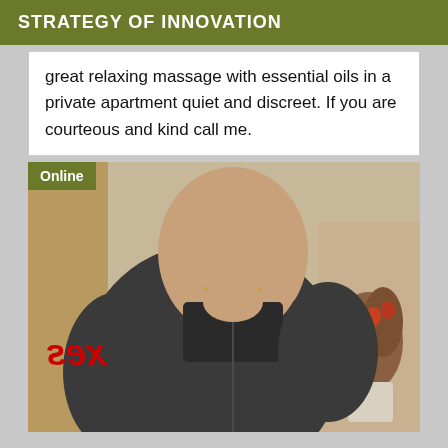STRATEGY OF INNOVATION
great relaxing massage with essential oils in a private apartment quiet and discreet. If you are courteous and kind call me.
[Figure (photo): Photo of a person wearing a dark grey t-shirt, with a flower arrangement visible in the background. An 'Online' badge is overlaid in the top-left corner, and a red mirrored text watermark is visible on the lower left.]